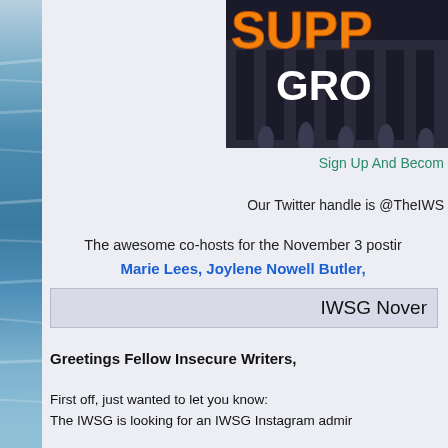[Figure (photo): Partial banner image showing large orange text 'SUPP' and white text 'GRO' on a dark background, appears to be a Support Group logo/banner]
Sign Up And Become
Our Twitter handle is @TheIWS
The awesome co-hosts for the November 3 posting are:
Marie Lees, Joylene Nowell Butler,
IWSG Novem
Greetings Fellow Insecure Writers,
First off, just wanted to let you know:
The IWSG is looking for an IWSG Instagram admin.